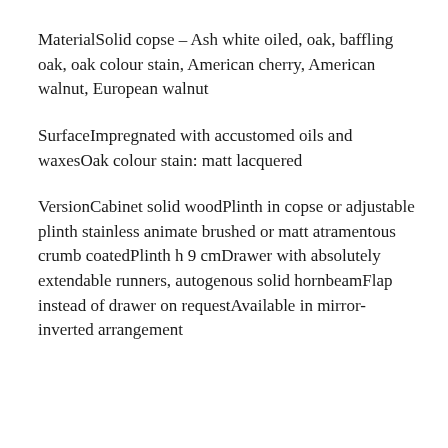MaterialSolid copse – Ash white oiled, oak, baffling oak, oak colour stain, American cherry, American walnut, European walnut
SurfaceImpregnated with accustomed oils and waxesOak colour stain: matt lacquered
VersionCabinet solid woodPlinth in copse or adjustable plinth stainless animate brushed or matt atramentous crumb coatedPlinth h 9 cmDrawer with absolutely extendable runners, autogenous solid hornbeamFlap instead of drawer on requestAvailable in mirror-inverted arrangement